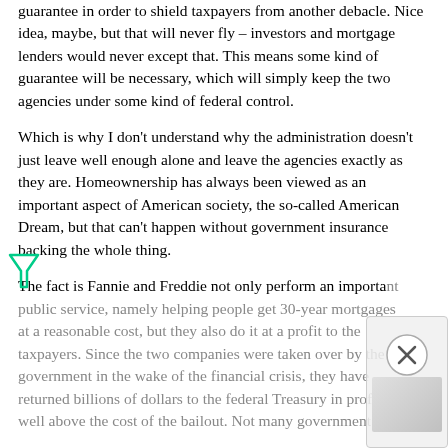guarantee in order to shield taxpayers from another debacle. Nice idea, maybe, but that will never fly – investors and mortgage lenders would never except that. This means some kind of guarantee will be necessary, which will simply keep the two agencies under some kind of federal control.
Which is why I don't understand why the administration doesn't just leave well enough alone and leave the agencies exactly as they are. Homeownership has always been viewed as an important aspect of American society, the so-called American Dream, but that can't happen without government insurance backing the whole thing.
The fact is Fannie and Freddie not only perform an important public service, namely helping people get 30-year mortgages at a reasonable cost, but they also do it at a profit to the taxpayers. Since the two companies were taken over by the government in the wake of the financial crisis, they have returned billions of dollars to the federal Treasury in profits well above the cost of the bailout. Not many government...